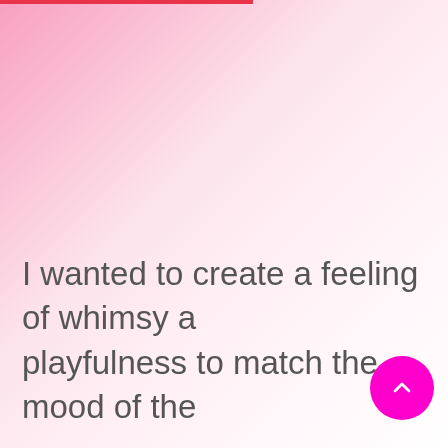[Figure (other): Pink to white gradient background filling the page]
I wanted to create a feeling of whimsy and playfulness to match the mood of the